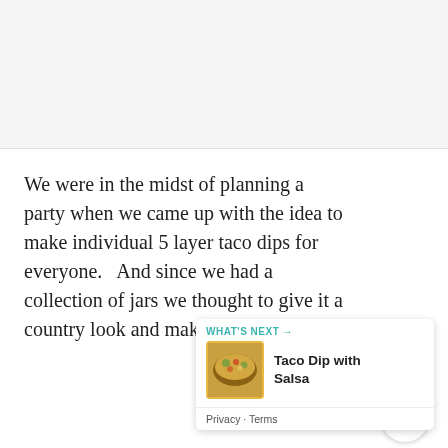[Figure (photo): Large image placeholder at the top of the page, light grey background representing a photo (likely of mason jars with taco dip)]
We were in the midst of planning a party when we came up with the idea to make individual 5 layer taco dips for everyone.   And since we had a collection of jars we thought to give it a country look and make it in mason jars.
[Figure (other): Teal circular heart/like button overlay on right side]
[Figure (other): White circular share button with share icon]
[Figure (other): What's Next card showing Taco Dip with Salsa with a food thumbnail image]
Privacy · Terms